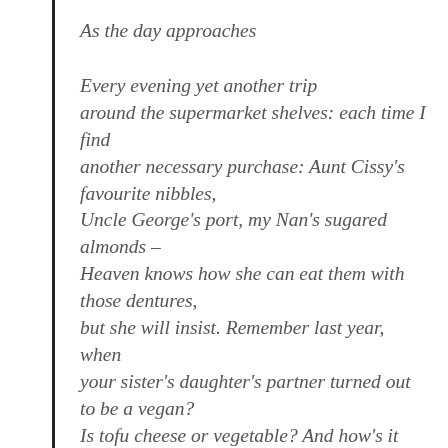As the day approaches
Every evening yet another trip
around the supermarket shelves: each time I find
another necessary purchase: Aunt Cissy's favourite nibbles,
Uncle George's port, my Nan's sugared almonds –
Heaven knows how she can eat them with those dentures,
but she will insist. Remember last year, when your sister's daughter's partner turned out to be a vegan?
Is tofu cheese or vegetable? And how's it cooked?